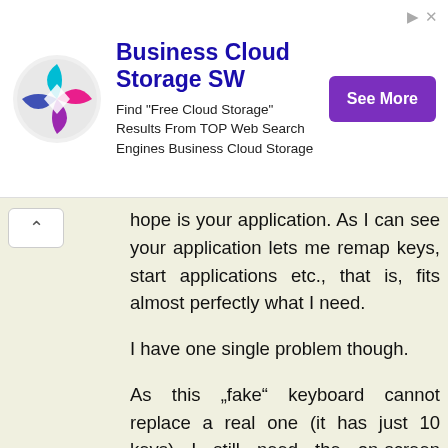[Figure (other): Advertisement banner: Business Cloud Storage SW logo (colorful diamond shape), title 'Business Cloud Storage SW', body text 'Find "Free Cloud Storage" Results From TOP Web Search Engines Business Cloud Storage', and a purple 'See More' button.]
hope is your application. As I can see your application lets me remap keys, start applications etc., that is, fits almost perfectly what I need.
I have one single problem though.
As this „fake" keyboard cannot replace a real one (it has just 10 keys) I still need the on-screen keyboard, but External Keyboard Helper disables it, more specifically it replaces with a Null Input method invisible soft keyboard. That is, a plain text cannot be entered anymore, e.g. a GPS address or a web site location.
So, my requirement would be to put a setting somewhere which optionally can re-enable the soft keyboard aside with the hardware one. In this case the hard and soft keyboards would work side by side: the physical „fake" keyboard would control the unit while the soft keyboard would appear...